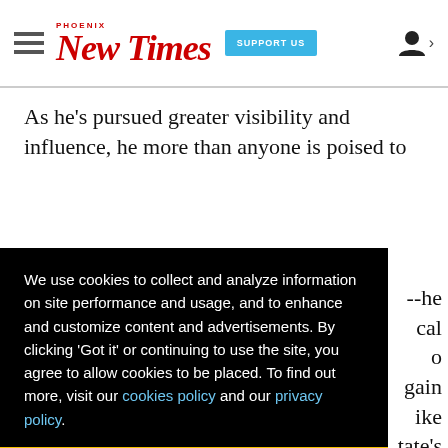Phoenix New Times — SUPPORT US — user icon
As he's pursued greater visibility and influence, he more than anyone is poised to --he cal o gain ike tate's nging
We use cookies to collect and analyze information on site performance and usage, and to enhance and customize content and advertisements. By clicking 'Got it' or continuing to use the site, you agree to allow cookies to be placed. To find out more, visit our cookies policy and our privacy policy.
Got it!
It's a testament to how rapidly Arpaio's star has